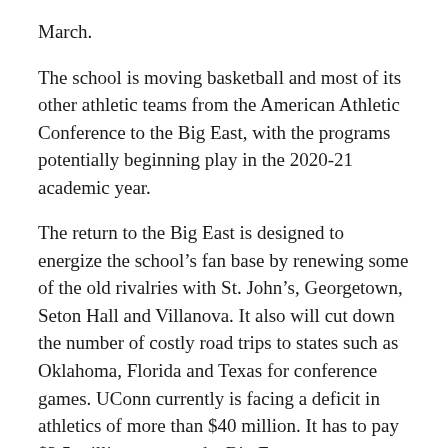March.
The school is moving basketball and most of its other athletic teams from the American Athletic Conference to the Big East, with the programs potentially beginning play in the 2020-21 academic year.
The return to the Big East is designed to energize the school’s fan base by renewing some of the old rivalries with St. John’s, Georgetown, Seton Hall and Villanova. It also will cut down the number of costly road trips to states such as Oklahoma, Florida and Texas for conference games. UConn currently is facing a deficit in athletics of more than $40 million. It has to pay $3.5 million to enter the Big East.
UConn President Susan Herbst said that since word of the move emerged, season ticket sales are way up for both basketball programs. She believes rejoining the